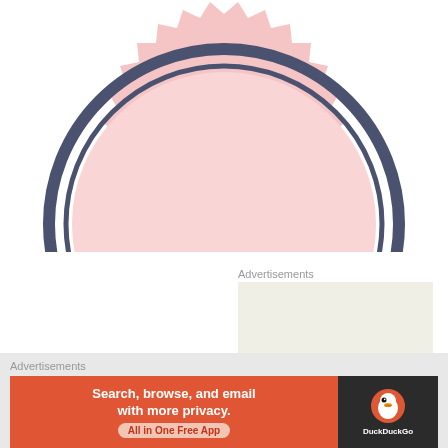[Figure (illustration): Pink badge/seal shape (bottom half visible) with zigzag edges and two concentric dark navy/slate blue rings on a white background]
Advertisements
[Figure (logo): WordPress logo (W in circle) on a light beige/cream background advertisement panel, with text 'Professionally' visible at bottom]
Advertisements
[Figure (infographic): DuckDuckGo advertisement banner: orange/red background with white bold text 'Search, browse, and email with more privacy.' and 'All in One Free App' button, with DuckDuckGo duck logo on dark right panel]